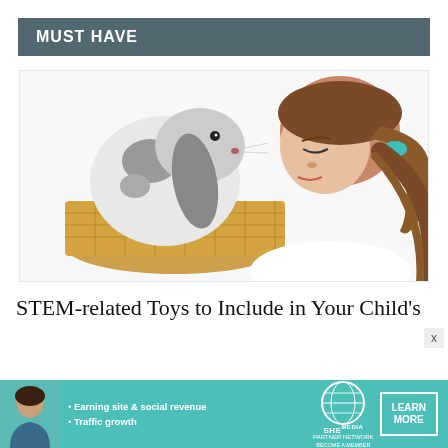MUST HAVE
[Figure (photo): A young girl with brown hair in a ponytail with a teal hair tie, leaning close to a white and grey spotted lop-eared rabbit sitting in a wicker basket.]
STEM-related Toys to Include in Your Child's
[Figure (infographic): Advertisement banner for SHE Partner Network: a woman's photo, bullet points reading 'Earning site & social revenue' and 'Traffic growth', SHE logo, and a 'LEARN MORE' button with 'BECOME A MEMBER' text.]